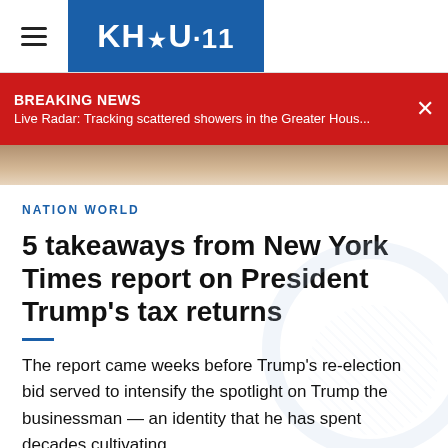KHOU 11
BREAKING NEWS
Live Radar: Tracking scattered showers in the Greater Hous...
[Figure (photo): Partial photo strip showing a blurred background image]
NATION WORLD
5 takeaways from New York Times report on President Trump's tax returns
The report came weeks before Trump's re-election bid served to intensify the spotlight on Trump the businessman — an identity that he has spent decades cultivating.
Author: PAUL WISEMAN and CHRISTOPHER RUGABER AP